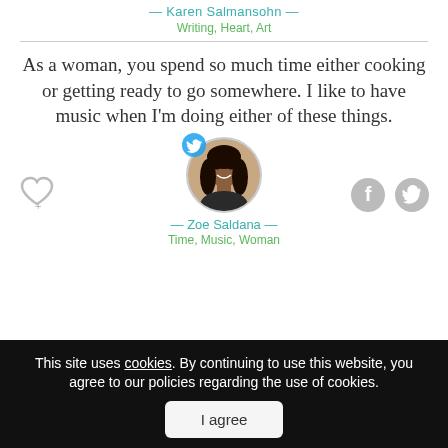— Karen Salmansohn —
Writing, Heart, Art
As a woman, you spend so much time either cooking or getting ready to go somewhere. I like to have music when I'm doing either of these things.
[Figure (photo): Round profile photo of Zoe Saldana with a Twitter bird badge overlay in the top-left]
— Zoe Saldana —
Time, Music, Woman
This site uses cookies. By continuing to use this website, you agree to our policies regarding the use of cookies.